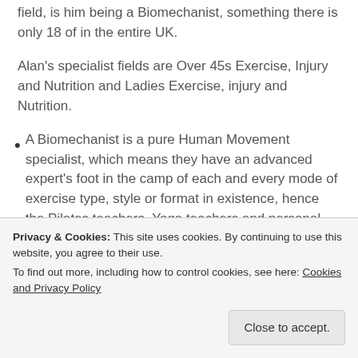field, is him being a Biomechanist, something there is only 18 of in the entire UK.
Alan's specialist fields are Over 45s Exercise, Injury and Nutrition and Ladies Exercise, injury and Nutrition.
A Biomechanist is a pure Human Movement specialist, which means they have an advanced expert's foot in the camp of each and every mode of exercise type, style or format in existence, hence the Pilates teachers, Yoga teachers and personal trainers Alan has amongst his client list. He is also
[faded text continues - cookie banner overlays remainder]
Privacy & Cookies: This site uses cookies. By continuing to use this website, you agree to their use.
To find out more, including how to control cookies, see here: Cookies and Privacy Policy